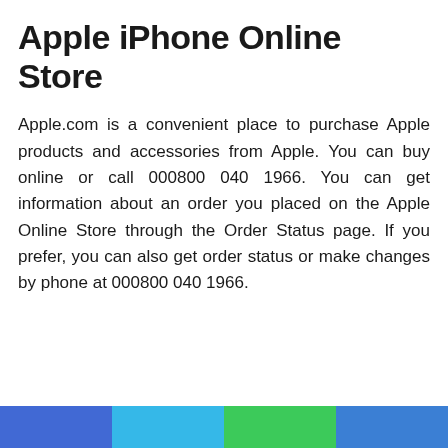Apple iPhone Online Store
Apple.com is a convenient place to purchase Apple products and accessories from Apple. You can buy online or call 000800 040 1966. You can get information about an order you placed on the Apple Online Store through the Order Status page. If you prefer, you can also get order status or make changes by phone at 000800 040 1966.